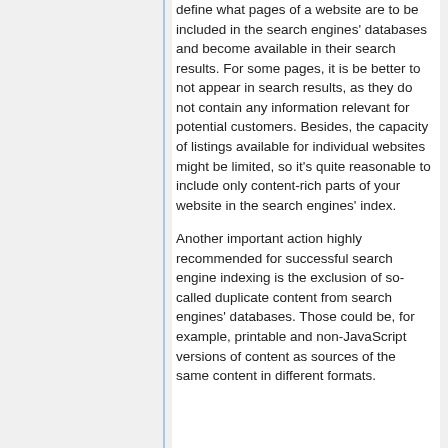define what pages of a website are to be included in the search engines' databases and become available in their search results. For some pages, it is be better to not appear in search results, as they do not contain any information relevant for potential customers. Besides, the capacity of listings available for individual websites might be limited, so it's quite reasonable to include only content-rich parts of your website in the search engines' index.
Another important action highly recommended for successful search engine indexing is the exclusion of so-called duplicate content from search engines' databases. Those could be, for example, printable and non-JavaScript versions of content as sources of the same content in different formats.